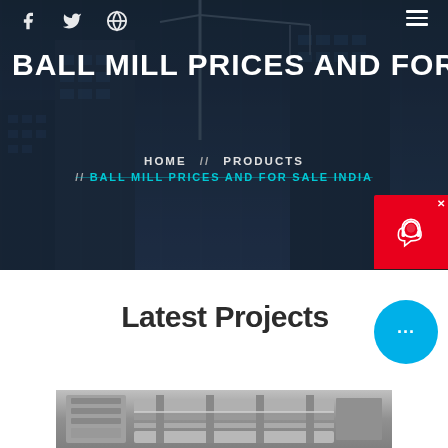BALL MILL PRICES AND FOR SALE INDIA
HOME // PRODUCTS // BALL MILL PRICES AND FOR SALE INDIA
Latest Projects
[Figure (photo): Industrial machinery / construction equipment photo]
[Figure (other): Live chat widget with headset icon, red header, dark Chat Now label]